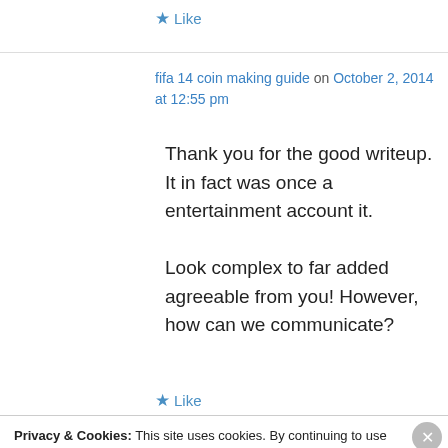★ Like
fifa 14 coin making guide on October 2, 2014 at 12:55 pm
Thank you for the good writeup. It in fact was once a entertainment account it.

Look complex to far added agreeable from you! However, how can we communicate?
★ Like
Privacy & Cookies: This site uses cookies. By continuing to use this website, you agree to their use.
To find out more, including how to control cookies, see here: Cookie Policy
Close and accept